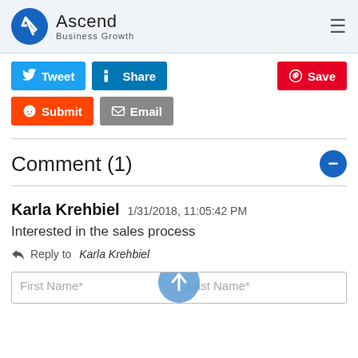[Figure (logo): Ascend Business Growth logo with blue circle containing white arrow, text 'Ascend Business Growth']
[Figure (screenshot): Social sharing buttons: Tweet (Twitter blue), Share (LinkedIn blue), Save (Pinterest red), Submit (Reddit orange), Email (gray)]
Comment (1)
Karla Krehbiel 1/31/2018, 11:05:42 PM
Interested in the sales process
Reply to Karla Krehbiel
First Name*   Last Name*